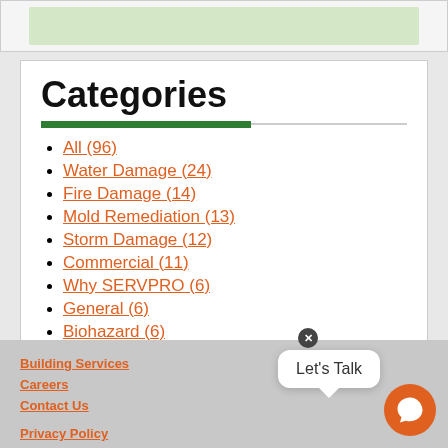[Figure (other): Green map or image strip at top]
Categories
All (96)
Water Damage (24)
Fire Damage (14)
Mold Remediation (13)
Storm Damage (12)
Commercial (11)
Why SERVPRO (6)
General (6)
Biohazard (6)
Cleaning (3)
Building Services (1)
Building Services | Careers | Contact Us | Privacy Policy | Terms & Conditions